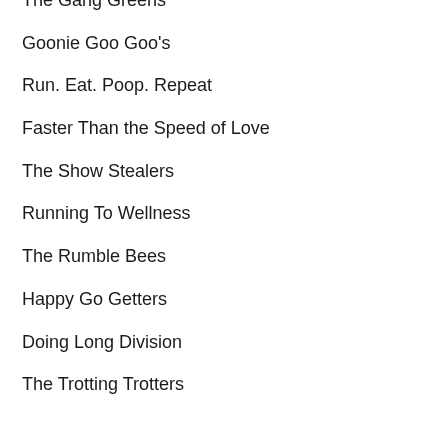The Gang Greens
Goonie Goo Goo's
Run. Eat. Poop. Repeat
Faster Than the Speed of Love
The Show Stealers
Running To Wellness
The Rumble Bees
Happy Go Getters
Doing Long Division
The Trotting Trotters